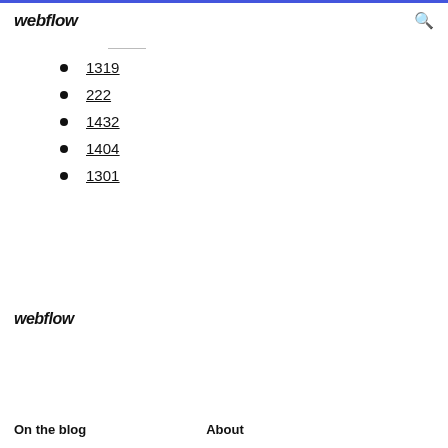webflow
1319
222
1432
1404
1301
webflow
On the blog
About